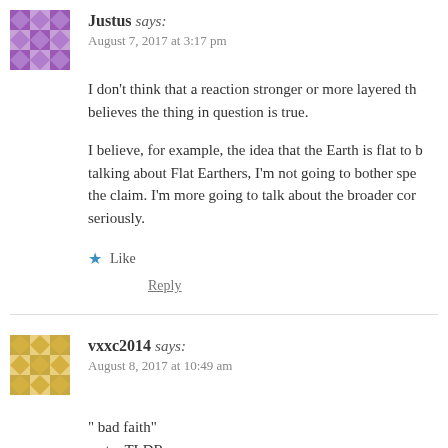Justus says: August 7, 2017 at 3:17 pm
I don't think that a reaction stronger or more layered th... believes the thing in question is true.
I believe, for example, the idea that the Earth is flat to b... talking about Flat Earthers, I'm not going to bother spe... the claim. I'm more going to talk about the broader cor... seriously.
Like
Reply
vxxc2014 says: August 8, 2017 at 10:49 am
“ bad faith”
rest... TLDR